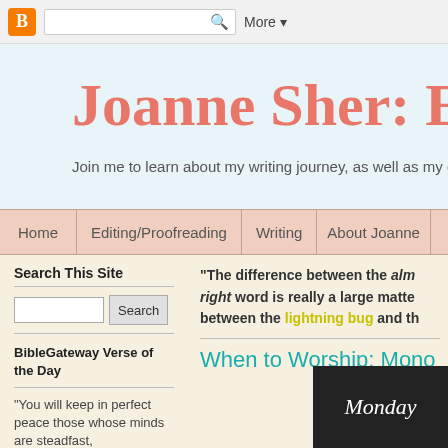Blogger navigation bar with search and More button
Joanne Sher: Edit
Join me to learn about my writing journey, as well as my editing
Home | Editing/Proofreading | Writing | About Joanne
Search This Site
“The difference between the almost right word is really a large matter — between the lightning bug and th
BibleGateway Verse of the Day
When to Worship: Mono
“You will keep in perfect peace those whose minds are steadfast,
[Figure (photo): Monday-themed image or banner with cursive text on dark background]